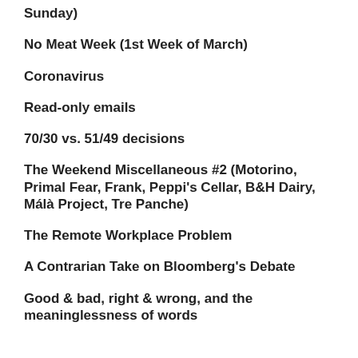Sunday)
No Meat Week (1st Week of March)
Coronavirus
Read-only emails
70/30 vs. 51/49 decisions
The Weekend Miscellaneous #2 (Motorino, Primal Fear, Frank, Peppi's Cellar, B&H Dairy, Málà Project, Tre Panche)
The Remote Workplace Problem
A Contrarian Take on Bloomberg's Debate
Good & bad, right & wrong, and the meaninglessness of words